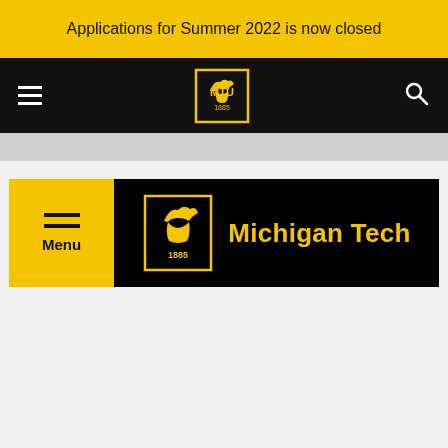Applications for Summer 2022 is now closed
[Figure (logo): Michigan Tech wolf logo with 1885 text, small version in black navbar]
[Figure (logo): Michigan Tech wolf logo with 1885 text and Michigan Tech wordmark in gold on black background navigation bar with yellow Menu button]